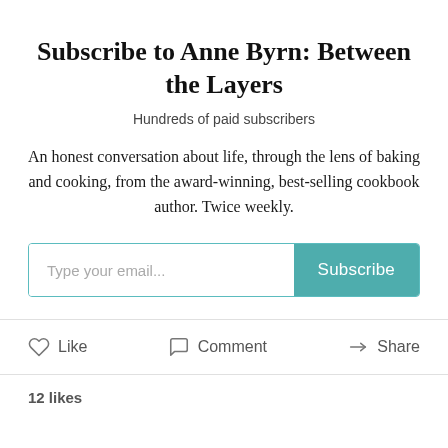Subscribe to Anne Byrn: Between the Layers
Hundreds of paid subscribers
An honest conversation about life, through the lens of baking and cooking, from the award-winning, best-selling cookbook author. Twice weekly.
Type your email...  Subscribe
Like  Comment  Share
12 likes